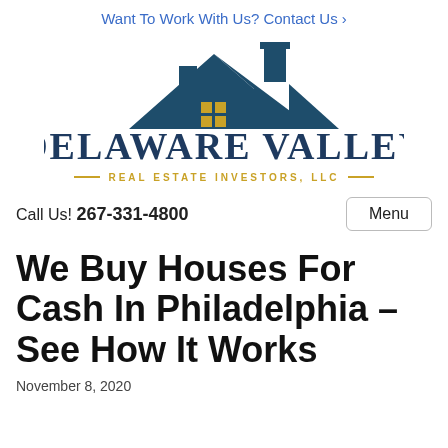Want To Work With Us? Contact Us ›
[Figure (logo): Delaware Valley Real Estate Investors LLC logo with house/rooftop icon in dark teal and gold window squares, company name in dark navy serif font, tagline in gold]
Call Us! 267-331-4800
We Buy Houses For Cash In Philadelphia – See How It Works
November 8, 2020